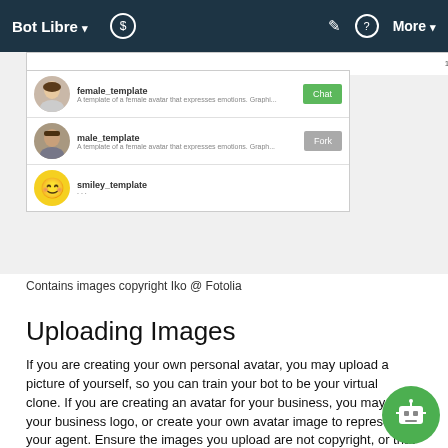Bot Libre ▾  $  ✎  ?  More ▾
[Figure (screenshot): Screenshot of Bot Libre avatar selection page showing female_template, male_template, and smiley_template avatars with Chat and Fork buttons]
Contains images copyright Iko @ Fotolia
Uploading Images
If you are creating your own personal avatar, you may upload a picture of yourself, so you can train your bot to be your virtual clone. If you are creating an avatar for your business, you may use your business logo, or create your own avatar image to represent your agent. Ensure the images you upload are not copyright, or that you own the copyright.
Your bot avatar allows different images for different emotions. So you can upload multiple images. If you are creating your own person avatar, you can take several photos of yourself expressing different emotions.